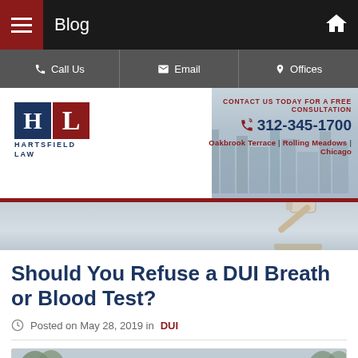Blog
Call Us | Email | Offices
[Figure (logo): Hartsfield Law logo with HL letters in navy and red squares]
CONTACT US TODAY FOR A FREE CONSULTATION
312-345-1700
Oakbrook Terrace | Rolling Meadows | Chicago
Should You Refuse a DUI Breath or Blood Test?
Posted on May 28, 2019 in DUI
[Figure (photo): Photo of a person near a car, outdoor scene]